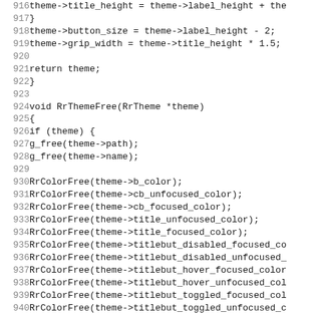Code listing lines 916-947, C source code for RrThemeFree function
916     theme->title_height = theme->label_height + the
917     }
918     theme->button_size = theme->label_height - 2;
919     theme->grip_width = theme->title_height * 1.5;
920
921     return theme;
922 }
923
924 void RrThemeFree(RrTheme *theme)
925 {
926     if (theme) {
927         g_free(theme->path);
928         g_free(theme->name);
929
930         RrColorFree(theme->b_color);
931         RrColorFree(theme->cb_unfocused_color);
932         RrColorFree(theme->cb_focused_color);
933         RrColorFree(theme->title_unfocused_color);
934         RrColorFree(theme->title_focused_color);
935         RrColorFree(theme->titlebut_disabled_focused_co
936         RrColorFree(theme->titlebut_disabled_unfocused_
937         RrColorFree(theme->titlebut_hover_focused_color
938         RrColorFree(theme->titlebut_hover_unfocused_col
939         RrColorFree(theme->titlebut_toggled_focused_col
940         RrColorFree(theme->titlebut_toggled_unfocused_c
941         RrColorFree(theme->titlebut_unfocused_pressed_c
942         RrColorFree(theme->titlebut_focused_pressed_col
943         RrColorFree(theme->titlebut_unfocused_unpressed
944         RrColorFree(theme->titlebut_focused_unpressed_c
945         RrColorFree(theme->menu_color);
946         RrColorFree(theme->menu_title_color);
947         RrColorFree(theme->menu_disabled_color);